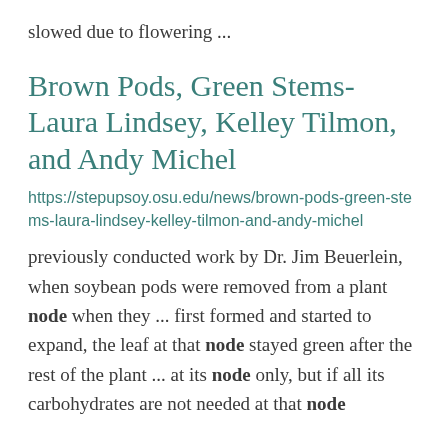slowed due to flowering ...
Brown Pods, Green Stems- Laura Lindsey, Kelley Tilmon, and Andy Michel
https://stepupsoy.osu.edu/news/brown-pods-green-stems-laura-lindsey-kelley-tilmon-and-andy-michel
previously conducted work by Dr. Jim Beuerlein, when soybean pods were removed from a plant node when they ... first formed and started to expand, the leaf at that node stayed green after the rest of the plant ... at its node only, but if all its carbohydrates are not needed at that node